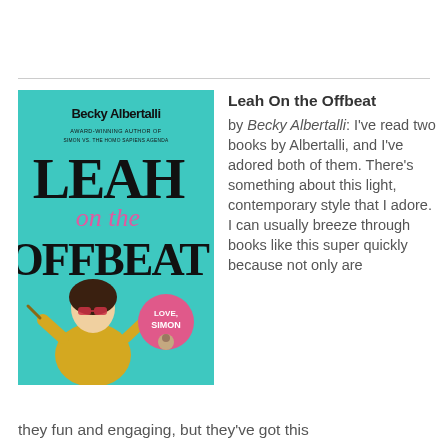[Figure (illustration): Book cover of 'Leah On the Offbeat' by Becky Albertalli. Teal/turquoise background with hand-drawn style lettering. Shows a girl with sunglasses and a yellow top holding drumsticks, with a pink circle badge reading 'LOVE SIMON' with a photo. Subtitle reads 'AWARD-WINNING AUTHOR OF SIMON VS. THE HOMO SAPIENS AGENDA'.]
Leah On the Offbeat by Becky Albertalli: I've read two books by Albertalli, and I've adored both of them. There's something about this light, contemporary style that I adore. I can usually breeze through books like this super quickly because not only are they fun and engaging, but they've got this